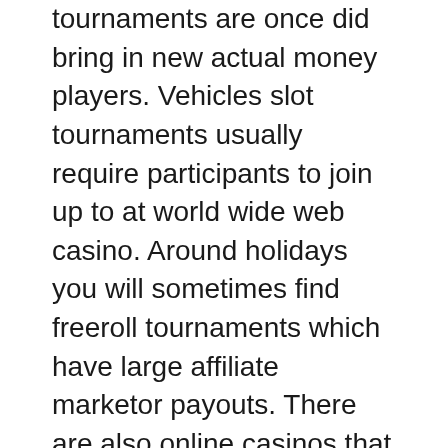tournaments are once did bring in new actual money players. Vehicles slot tournaments usually require participants to join up to at world wide web casino. Around holidays you will sometimes find freeroll tournaments which have large affiliate marketor payouts. There are also online casinos that offer smaller weekly freeroll matches. The tournament itself will not cost you any money, but you'll need to provide accurate contact information to get pleasure from.
A player must limit himself or herself when staking bets in a slot machine game. In fact, when one starts drop bets, it is advisable to put a stop to. Also, the limit should do not be more than ten percent of the account credits